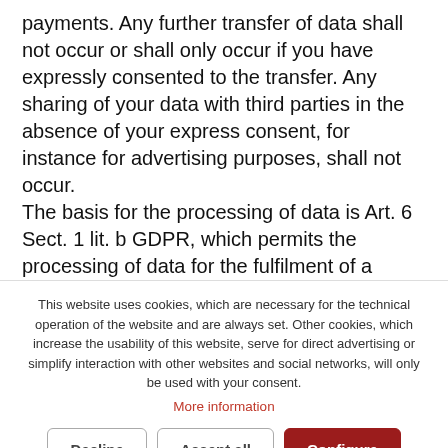payments. Any further transfer of data shall not occur or shall only occur if you have expressly consented to the transfer. Any sharing of your data with third parties in the absence of your express consent, for instance for advertising purposes, shall not occur.

The basis for the processing of data is Art. 6 Sect. 1 lit. b GDPR, which permits the processing of data for the fulfilment of a
This website uses cookies, which are necessary for the technical operation of the website and are always set. Other cookies, which increase the usability of this website, serve for direct advertising or simplify interaction with other websites and social networks, will only be used with your consent.
More information